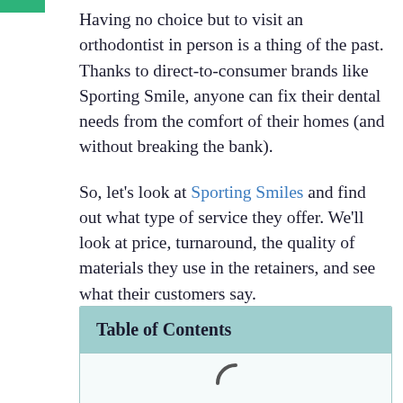Having no choice but to visit an orthodontist in person is a thing of the past. Thanks to direct-to-consumer brands like Sporting Smile, anyone can fix their dental needs from the comfort of their homes (and without breaking the bank).
So, let's look at Sporting Smiles and find out what type of service they offer. We'll look at price, turnaround, the quality of materials they use in the retainers, and see what their customers say.
| Table of Contents |
| --- |